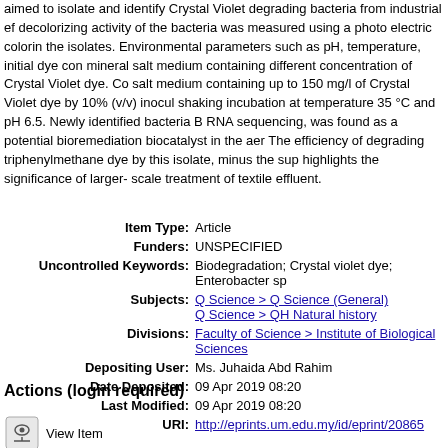aimed to isolate and identify Crystal Violet degrading bacteria from industrial ef... decolorizing activity of the bacteria was measured using a photo electric colorin... the isolates. Environmental parameters such as pH, temperature, initial dye con... mineral salt medium containing different concentration of Crystal Violet dye. Co... salt medium containing up to 150 mg/l of Crystal Violet dye by 10% (v/v) inocula shaking incubation at temperature 35 °C and pH 6.5. Newly identified bacteria B... RNA sequencing, was found as a potential bioremediation biocatalyst in the aer... The efficiency of degrading triphenylmethane dye by this isolate, minus the sup... highlights the significance of larger- scale treatment of textile effluent.
Item Type: Article
Funders: UNSPECIFIED
Uncontrolled Keywords: Biodegradation; Crystal violet dye; Enterobacter sp...
Subjects: Q Science > Q Science (General)
Q Science > QH Natural history
Divisions: Faculty of Science > Institute of Biological Sciences...
Depositing User: Ms. Juhaida Abd Rahim
Date Deposited: 09 Apr 2019 08:20
Last Modified: 09 Apr 2019 08:20
URI: http://eprints.um.edu.my/id/eprint/20865
Actions (login required)
View Item